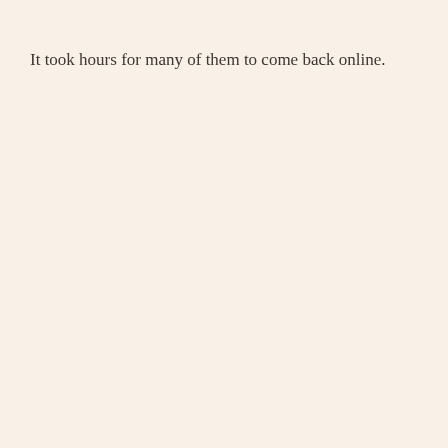It took hours for many of them to come back online.